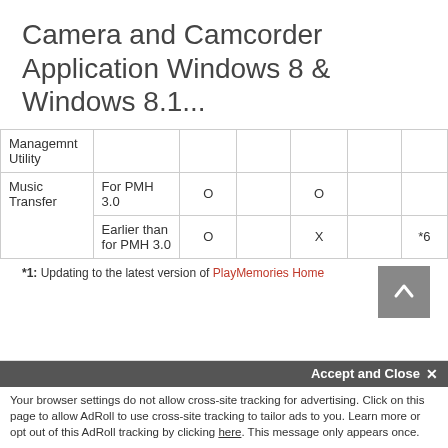Camera and Camcorder Application Windows 8 & Windows 8.1...
|  |  |  |  |  |  |  |
| --- | --- | --- | --- | --- | --- | --- |
| Managemnt Utility |  |  |  |  |  |  |
| Music Transfer | For PMH 3.0 | O |  | O |  |  |
|  | Earlier than for PMH 3.0 | O |  | X |  | *6 |
*1: Updating to the latest version of PlayMemories Home
Accept and Close ×
Your browser settings do not allow cross-site tracking for advertising. Click on this page to allow AdRoll to use cross-site tracking to tailor ads to you. Learn more or opt out of this AdRoll tracking by clicking here. This message only appears once.